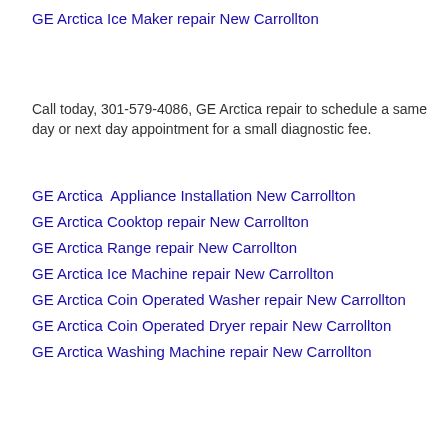GE Arctica Ice Maker repair New Carrollton
Call today, 301-579-4086, GE Arctica repair to schedule a same day or next day appointment for a small diagnostic fee.
GE Arctica  Appliance Installation New Carrollton
GE Arctica Cooktop repair New Carrollton
GE Arctica Range repair New Carrollton
GE Arctica Ice Machine repair New Carrollton
GE Arctica Coin Operated Washer repair New Carrollton
GE Arctica Coin Operated Dryer repair New Carrollton
GE Arctica Washing Machine repair New Carrollton